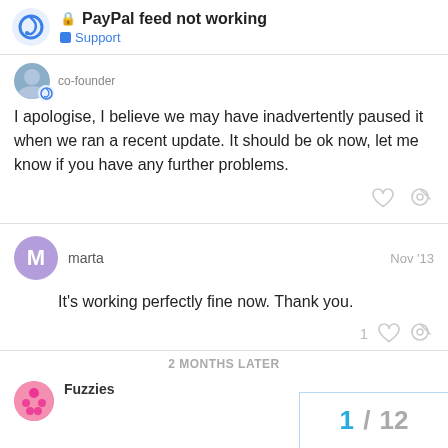PayPal feed not working — Support
co-founder
I apologise, I believe we may have inadvertently paused it when we ran a recent update. It should be ok now, let me know if you have any further problems.
marta  Nov '13
It's working perfectly fine now. Thank you.
2 MONTHS LATER
Fuzzies
1 / 12